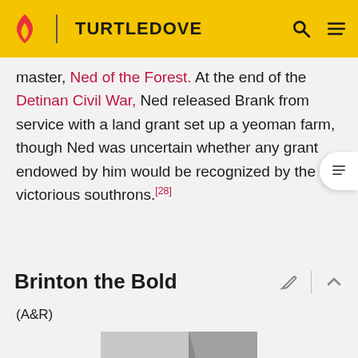TURTLEDOVE
master, Ned of the Forest. At the end of the Detinan Civil War, Ned released Brank from service with a land grant set up a yeoman farm, though Ned was uncertain whether any grant endowed by him would be recognized by the victorious southrons.[28]
Brinton the Bold
(A&R)
[Figure (photo): Black and white photograph of a man in a military uniform, standing, with a mustache, posed in front of a draped backdrop.]
Brinton the Bold was the General of King A...